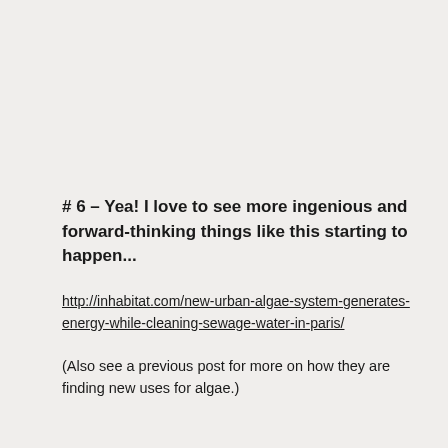# 6 – Yea! I love to see more ingenious and forward-thinking things like this starting to happen...
http://inhabitat.com/new-urban-algae-system-generates-energy-while-cleaning-sewage-water-in-paris/
(Also see a previous post for more on how they are finding new uses for algae.)